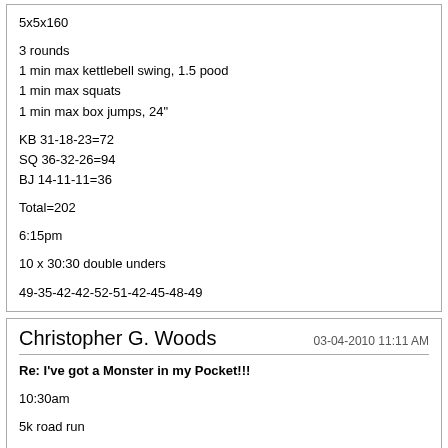5x5x160

3 rounds
1 min max kettlebell swing, 1.5 pood
1 min max squats
1 min max box jumps, 24"

KB 31-18-23=72
SQ 36-32-26=94
BJ 14-11-11=36

Total=202

6:15pm

10 x 30:30 double unders

49-35-42-42-52-51-42-45-48-49
Christopher G. Woods
03-04-2010 11:11 AM
Re: I've got a Monster in my Pocket!!!
10:30am
5k road run
25:44